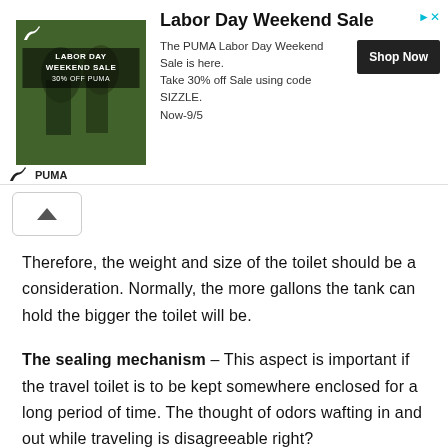[Figure (screenshot): PUMA Labor Day Weekend Sale advertisement banner with image of athletes, sale details, and Shop Now button]
Therefore, the weight and size of the toilet should be a consideration. Normally, the more gallons the tank can hold the bigger the toilet will be.
The sealing mechanism – This aspect is important if the travel toilet is to be kept somewhere enclosed for a long period of time. The thought of odors wafting in and out while traveling is disagreeable right?
If you are a trucker or planning to travel on a recreational vehicle, it is important that you pick one